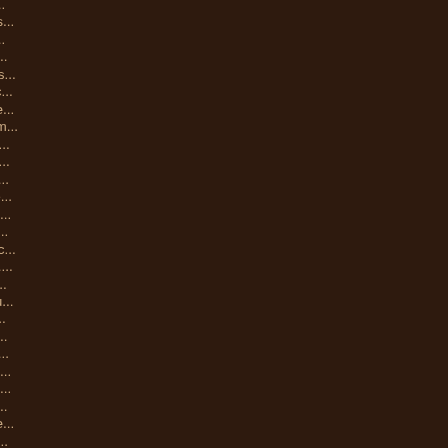[url=http://www.christianloubo...
[url=http://www.uggoutletstore...
[url=http://www.christianloubo...
[url=http://www.guccioutletinc....
[url=http://www.asics-runnings...
[url=http://www.adidasnmdblac...
[url=http://www.uggsoutletstore...
[url=http://www.canadagoose.n...
[url=http://www.moncleroutletc...
[url=http://www.moncleroutlets...
[url=http://www.mlbjerseys.net...
[url=http://www.polo-ralphlauré...
[url=http://www.outlet-canadag...
[url=http://www.ralphlaurenout...
[url=http://www.nike-shoes.us.c...
[url=http://www.pandoracharm....
[url=http://www.truereligionjea...
[url=http://www.coachfactoryo...
[url=http://www.off--whitecloth...
[url=http://www.nikeshoesforw...
[url=http://www.michaelkorsou...
[url=http://www.mont-blancpen...
[url=http://www.nikekyrie.us.co...
[url=http://www.poloralphlaure...
[url=http://www.mbtshoes-outle...
[url=http://www.cheapnfljersey...
[url=http://www.cheapuggs-for...
[url=http://www.moncleroutlet...